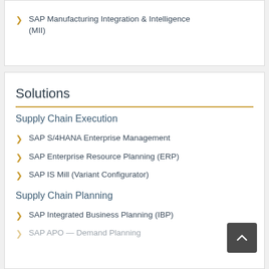SAP Manufacturing Integration & Intelligence (MII)
Solutions
Supply Chain Execution
SAP S/4HANA Enterprise Management
SAP Enterprise Resource Planning (ERP)
SAP IS Mill (Variant Configurator)
Supply Chain Planning
SAP Integrated Business Planning (IBP)
SAP APO — Demand Planning